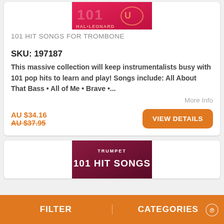[Figure (photo): Book cover for 101 Hit Songs for Trombone - pink/red cover with gold instrument graphic and Hal Leonard branding]
101 HIT SONGS FOR TROMBONE
SKU: 197187
This massive collection will keep instrumentalists busy with 101 pop hits to learn and play! Songs include: All About That Bass • All of Me • Brave •...
More Info
AU $34.16
AU $37.95
VIEW DETAILS
[Figure (photo): Book cover for 101 Hit Songs for Trumpet - dark red/maroon cover with TRUMPET and 101 HIT SONGS text]
FILTER   CATEGORIES